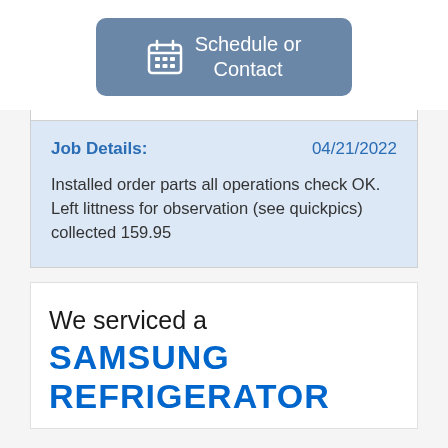[Figure (other): Blue-grey rounded button with calendar icon and text 'Schedule or Contact']
Job Details: 04/21/2022
Installed order parts all operations check OK. Left littness for observation (see quickpics) collected 159.95
We serviced a
SAMSUNG REFRIGERATOR